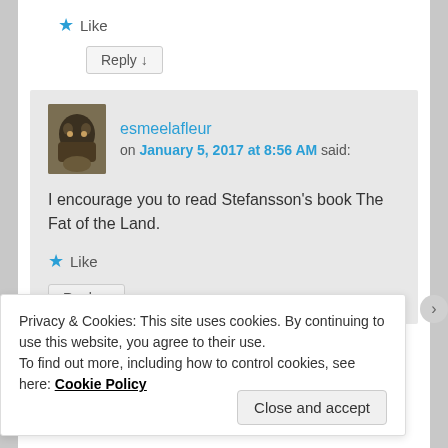★ Like
Reply ↓
esmeelafleur on January 5, 2017 at 8:56 AM said:
I encourage you to read Stefansson's book The Fat of the Land.
★ Like
Reply ↓
Privacy & Cookies: This site uses cookies. By continuing to use this website, you agree to their use.
To find out more, including how to control cookies, see here: Cookie Policy
Close and accept